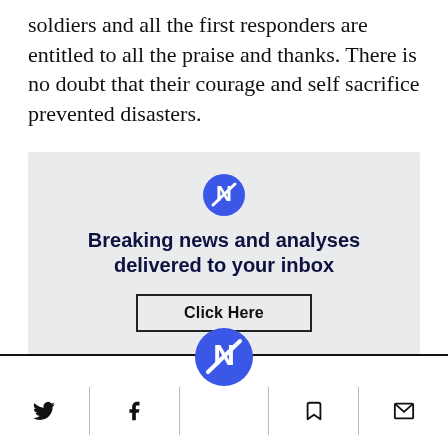soldiers and all the first responders are entitled to all the praise and thanks. There is no doubt that their courage and self sacrifice prevented disasters.
[Figure (infographic): Newsletter signup box with logo icon, headline 'Breaking news and analyses delivered to your inbox', and a 'Click Here' button, on a light grey background.]
Footer bar with Twitter, Facebook, logo, bookmark, and email icons